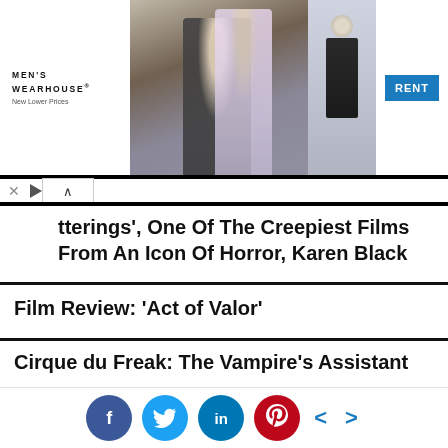[Figure (photo): Men's Wearhouse advertisement banner showing a couple in formal wear and a man in a suit, with a blue RENT button]
tterings', One Of The Creepiest Films From An Icon Of Horror, Karen Black
Film Review: ‘Act of Valor’
Cirque du Freak: The Vampire’s Assistant
Chernobyl Diaries